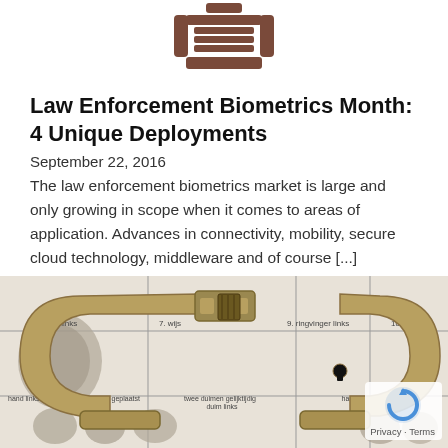[Figure (illustration): Brown/dark red icon of a person or document/fingerprint scanner device, top center of page]
Law Enforcement Biometrics Month: 4 Unique Deployments
September 22, 2016
The law enforcement biometrics market is large and only growing in scope when it comes to areas of application. Advances in connectivity, mobility, secure cloud technology, middleware and of course [...]
[Figure (photo): Photograph of metal handcuffs resting on a fingerprint card with fingerprint impressions and Dutch text labels including 'hand links vier vingers gelijktijdig geplaatst', 'twee duimen gelijktijdig', 'hand rechts vier', '8 duim links', '7 wijs', '9. ringvinger links', '10. pink li']
Privacy · Terms